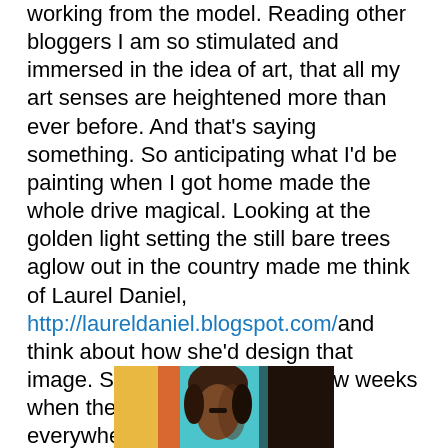working from the model. Reading other bloggers I am so stimulated and immersed in the idea of art, that all my art senses are heightened more than ever before. And that's saying something. So anticipating what I'd be painting when I got home made the whole drive magical. Looking at the golden light setting the still bare trees aglow out in the country made me think of Laurel Daniel, http://laureldaniel.blogspot.com/and think about how she'd design that image. She'd far prefer it in a few weeks when the new green bursts out everywhere.
People grinding their teeth as they waited, and waited and waited in traffic, talking impatiently on what will soon be illegal (in cars) cell phones were all bathed in a luxurious, gilded, start-to- spring, evening light. I sat transfixed wishing for a sketchbook and pen, although you know the police would frown on that.
[Figure (illustration): A colorful painted portrait with a warm yellow/orange background on the left, teal/blue in the middle, and dark tones on the right. A figure with dark hair and brown skin is visible.]